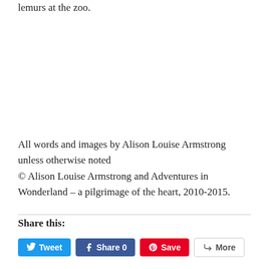lemurs at the zoo.
All words and images by Alison Louise Armstrong unless otherwise noted
© Alison Louise Armstrong and Adventures in Wonderland – a pilgrimage of the heart, 2010-2015.
Share this: